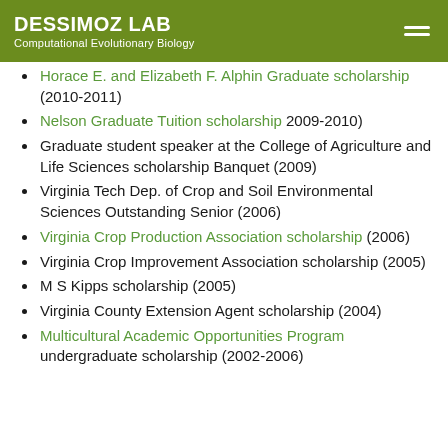DESSIMOZ LAB
Computational Evolutionary Biology
Horace E. and Elizabeth F. Alphin Graduate scholarship (2010-2011)
Nelson Graduate Tuition scholarship 2009-2010)
Graduate student speaker at the College of Agriculture and Life Sciences scholarship Banquet (2009)
Virginia Tech Dep. of Crop and Soil Environmental Sciences Outstanding Senior (2006)
Virginia Crop Production Association scholarship (2006)
Virginia Crop Improvement Association scholarship (2005)
M S Kipps scholarship (2005)
Virginia County Extension Agent scholarship (2004)
Multicultural Academic Opportunities Program undergraduate scholarship (2002-2006)